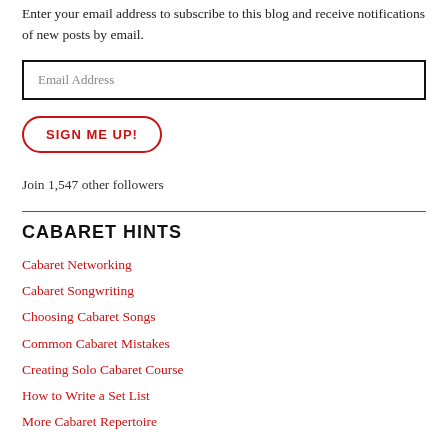Enter your email address to subscribe to this blog and receive notifications of new posts by email.
Email Address
SIGN ME UP!
Join 1,547 other followers
CABARET HINTS
Cabaret Networking
Cabaret Songwriting
Choosing Cabaret Songs
Common Cabaret Mistakes
Creating Solo Cabaret Course
How to Write a Set List
More Cabaret Repertoire